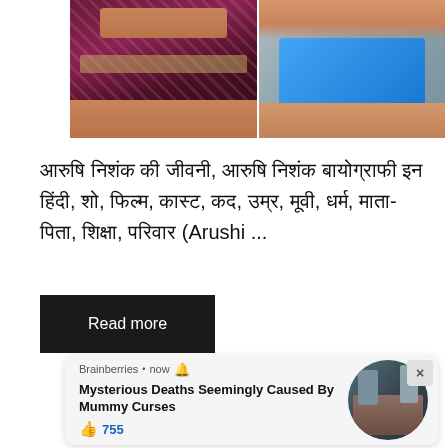[Figure (photo): Two photos side by side: left shows a woman in a maroon/red embroidered crop top and skirt with jewelry; right shows a woman in a blue sleeveless top.]
आरुषि निशंक की जीवनी, आरुषि निशंक बायोग्राफी इन हिंदी, शो, फिल्म, कास्ट, कद, उम्र, मूवी, धर्म, माता-पिता, शिक्षा, परिवार (Arushi ...
Read more
Brainberries • now 🔔
Mysterious Deaths Seemingly Caused By Mummy Curses
👍 755